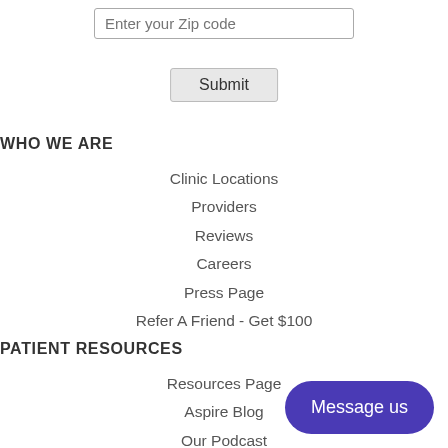Enter your Zip code
Submit
WHO WE ARE
Clinic Locations
Providers
Reviews
Careers
Press Page
Refer A Friend - Get $100
PATIENT RESOURCES
Resources Page
Aspire Blog
Our Podcast
Allergen Calendar
New Patients
Message us